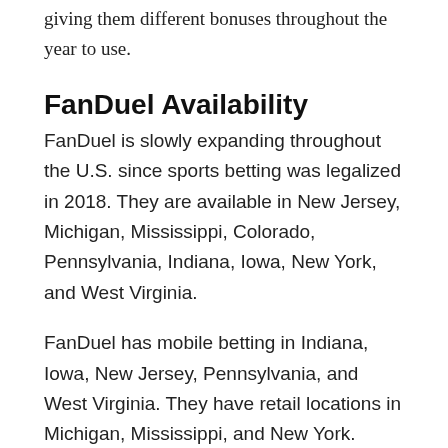giving them different bonuses throughout the year to use.
FanDuel Availability
FanDuel is slowly expanding throughout the U.S. since sports betting was legalized in 2018. They are available in New Jersey, Michigan, Mississippi, Colorado, Pennsylvania, Indiana, Iowa, New York, and West Virginia.
FanDuel has mobile betting in Indiana, Iowa, New Jersey, Pennsylvania, and West Virginia. They have retail locations in Michigan, Mississippi, and New York. FanDuel is also launching in Colorado before 2020 is over.